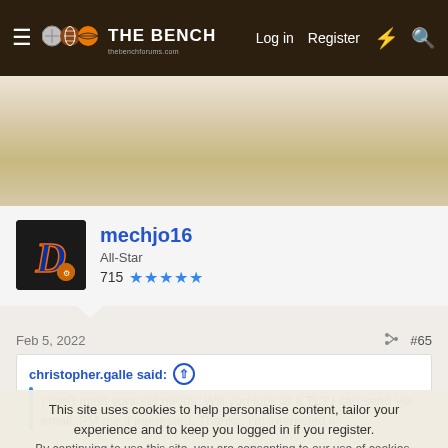THE BENCH | Log in | Register
[Figure (illustration): Wood-grain banner background area]
mechjo16
All-Star
715 ★★★★★
Feb 5, 2022
#65
christopher.galle said: ↑
I can't meet your set needs. Will you look at a TL? I can send via email. PM me if interested. Thanks. I'm interested in
This site uses cookies to help personalise content, tailor your experience and to keep you logged in if you register.
By continuing to use this site, you are consenting to our use of cookies.
Accept
Learn more...